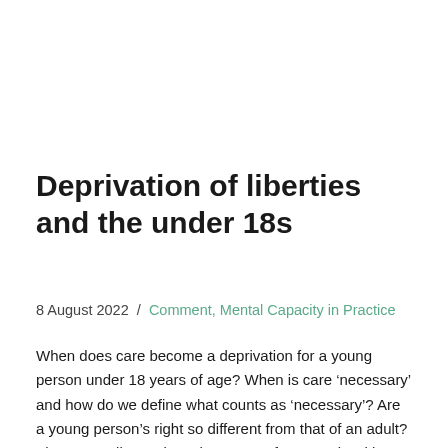Deprivation of liberties and the under 18s
8 August 2022  /  Comment, Mental Capacity in Practice
When does care become a deprivation for a young person under 18 years of age? When is care ‘necessary’ and how do we define what counts as ‘necessary’? Are a young person’s right so different from that of an adult? These are all questions that some of us wrestle with on an almost daily basis – and yet at the same time, it is evident that in some cases, these